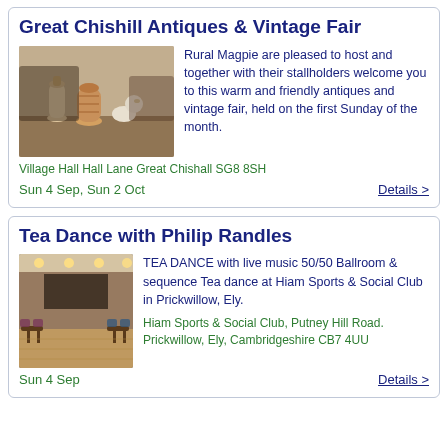Great Chishill Antiques & Vintage Fair
[Figure (photo): Photo of antique vases and ceramic figurines on a table at an antiques fair]
Rural Magpie are pleased to host and together with their stallholders welcome you to this warm and friendly antiques and vintage fair, held on the first Sunday of the month.
Village Hall Hall Lane Great Chishall SG8 8SH
Sun 4 Sep, Sun 2 Oct
Details >
Tea Dance with Philip Randles
[Figure (photo): Photo of a sports and social club hall interior with tables and chairs set up for a tea dance]
TEA DANCE with live music 50/50 Ballroom & sequence Tea dance at Hiam Sports & Social Club in Prickwillow, Ely.
Hiam Sports & Social Club, Putney Hill Road. Prickwillow, Ely, Cambridgeshire CB7 4UU
Sun 4 Sep
Details >